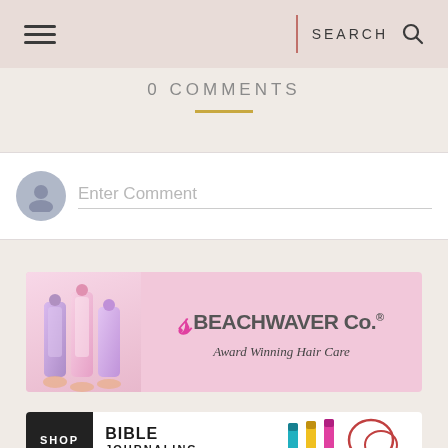SEARCH
0 COMMENTS
Enter Comment
[Figure (illustration): Beachwaver Co. advertisement banner with pink background, product tubes on left, logo with stylized S and BEACHWAVER Co. text, tagline Award Winning Hair Care]
[Figure (illustration): Bible Journaling advertisement with SHOP button, product markers, and DaySpring logo]